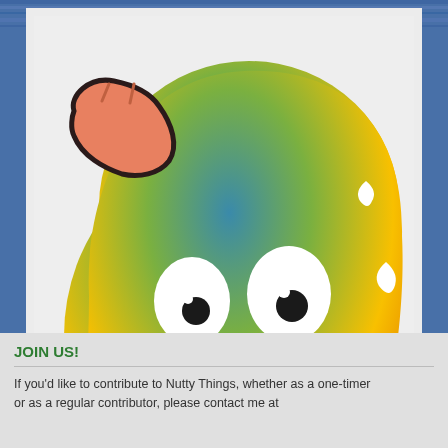[Figure (illustration): Cartoon emoji-style character: a rounded yellow-green blobby face with teal-to-yellow gradient, wide white eyes with black pupils, an open mouth showing an orange/brown interior, sweat drops on the right side, and a salmon/pink hand-like shape in upper left. The character appears nervous or embarrassed.]
Hi, everybody... :3
JOIN US!
If you'd like to contribute to Nutty Things, whether as a one-timer or as a regular contributor, please contact me at...